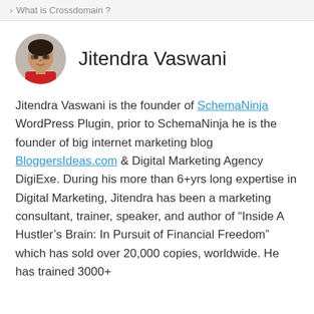› What is Crossdomain ?
Jitendra Vaswani
Jitendra Vaswani is the founder of SchemaNinja WordPress Plugin, prior to SchemaNinja he is the founder of big internet marketing blog BloggersIdeas.com & Digital Marketing Agency DigiExe. During his more than 6+yrs long expertise in Digital Marketing, Jitendra has been a marketing consultant, trainer, speaker, and author of “Inside A Hustler’s Brain: In Pursuit of Financial Freedom” which has sold over 20,000 copies, worldwide. He has trained 3000+ digital marketing professionals at various levels.